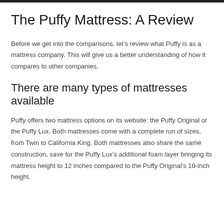The Puffy Mattress: A Review
Before we get into the comparisons, let’s review what Puffy is as a mattress company. This will give us a better understanding of how it compares to other companies.
There are many types of mattresses available
Puffy offers two mattress options on its website: the Puffy Original or the Puffy Lux. Both mattresses come with a complete run of sizes, from Twin to California King. Both mattresses also share the same construction, save for the Puffy Lux’s additional foam layer bringing its mattress height to 12 inches compared to the Puffy Original’s 10-inch height.